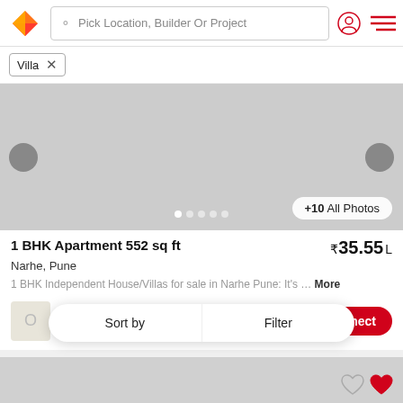Pick Location, Builder Or Project
Villa ×
[Figure (screenshot): Property image carousel with navigation arrows and +10 All Photos button, showing a gray placeholder image with dot indicators at bottom]
1 BHK Apartment 552 sq ft  ₹35.55 L
Narhe, Pune
1 BHK Independent House/Villas for sale in Narhe Pune: It's … More
OMKARESHWAR PR
AGE...
Sort by | Filter | Connect